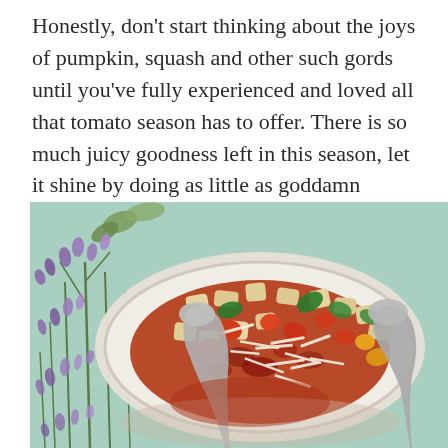Honestly, don't start thinking about the joys of pumpkin, squash and other such gords until you've fully experienced and loved all that tomato season has to offer. There is so much juicy goodness left in this season, let it shine by doing as little as goddamn possible.
[Figure (photo): A bowl of pasta or gnocchi dish topped with chopped tomatoes, basil leaves, and shredded Parmesan cheese, with serving spoons, placed on a light blue surface with sprigs of purple lavender flowers on the left side.]